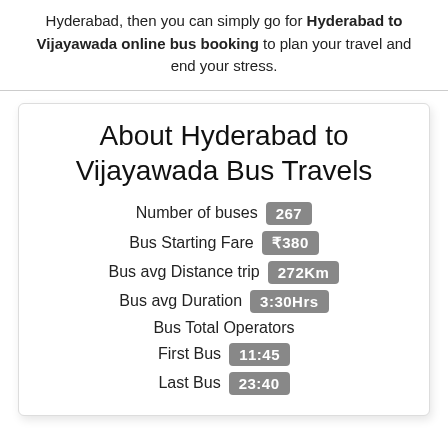Hyderabad, then you can simply go for Hyderabad to Vijayawada online bus booking to plan your travel and end your stress.
About Hyderabad to Vijayawada Bus Travels
| Label | Value |
| --- | --- |
| Number of buses | 267 |
| Bus Starting Fare | ₹380 |
| Bus avg Distance trip | 272Km |
| Bus avg Duration | 3:30Hrs |
| Bus Total Operators |  |
| First Bus | 11:45 |
| Last Bus | 23:40 |